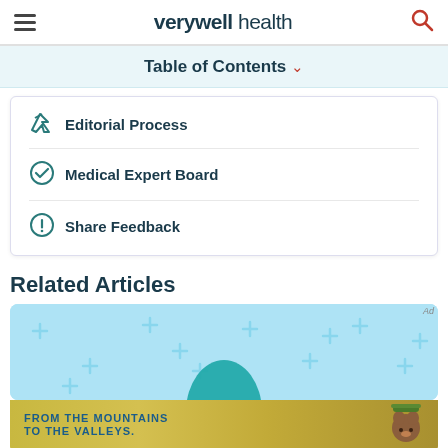verywell health
Table of Contents
Editorial Process
Medical Expert Board
Share Feedback
Related Articles
[Figure (illustration): Light blue card with teal plus signs pattern and a teal pill/capsule shape at bottom center]
[Figure (photo): Ad banner - mountains and valleys landscape with Smokey Bear character, text FROM THE MOUNTAINS TO THE VALLEYS]